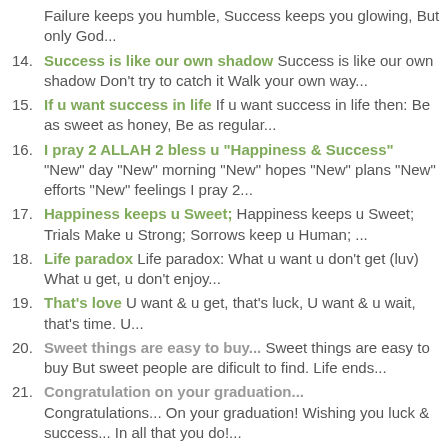Failure keeps you humble, Success keeps you glowing, But only God...
14. Success is like our own shadow Success is like our own shadow Don't try to catch it Walk your own way...
15. If u want success in life If u want success in life then: Be as sweet as honey, Be as regular...
16. I pray 2 ALLAH 2 bless u "Happiness & Success" "New" day "New" morning "New" hopes "New" plans "New" efforts "New" feelings I pray 2...
17. Happiness keeps u Sweet; Happiness keeps u Sweet; Trials Make u Strong; Sorrows keep u Human; ...
18. Life paradox Life paradox: What u want u don't get (luv) What u get, u don't enjoy...
19. That's love U want & u get, that's luck, U want & u wait, that's time. U...
20. Sweet things are easy to buy... Sweet things are easy to buy But sweet people are dificult to find. Life ends...
21. Congratulation on your graduation... Congratulations... On your graduation! Wishing you luck & success... In all that you do!...
22. Luck is not in ur hand Luck is not in ur hand But work is in ur hand Luck never makes...
23. You can change your luck... Luck is not in ur hand But